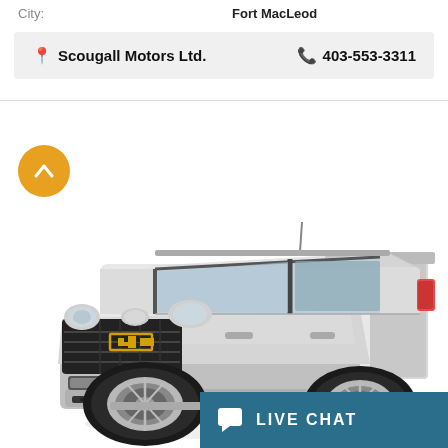City: Fort MacLeod
Scougall Motors Ltd.  403-553-3311
[Figure (photo): White Chevrolet Colorado extended cab pickup truck, front 3/4 view on white background]
LIVE CHAT